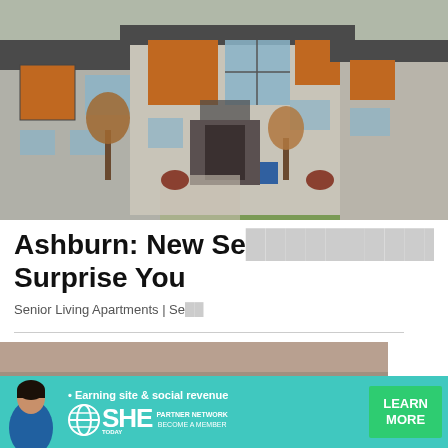[Figure (photo): Exterior photo of modern two-storey townhouses with grey stone and orange wood panel siding, green lawns and autumn trees]
Ashburn: New Senior Apartments May Surprise You
Senior Living Apartments | Se...
[Figure (photo): Photo of orange/beige/grey recliner sofas and couches in a showroom]
[Figure (infographic): SHE Media Partner Network advertisement banner with person, tagline 'Earning site & social revenue', SHE logo, PARTNER NETWORK, BECOME A MEMBER, and LEARN MORE button]